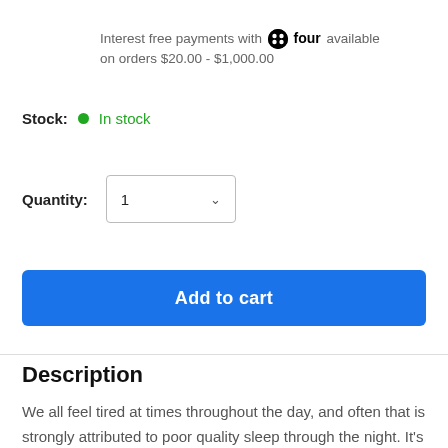Interest free payments with four available on orders $20.00 - $1,000.00
Stock: In stock
Quantity: 1
Add to cart
Description
We all feel tired at times throughout the day, and often that is strongly attributed to poor quality sleep through the night. It's not